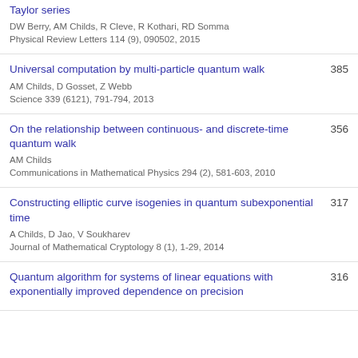Taylor series
Universal computation by multi-particle quantum walk
On the relationship between continuous- and discrete-time quantum walk
Constructing elliptic curve isogenies in quantum subexponential time
Quantum algorithm for systems of linear equations with exponentially improved dependence on precision